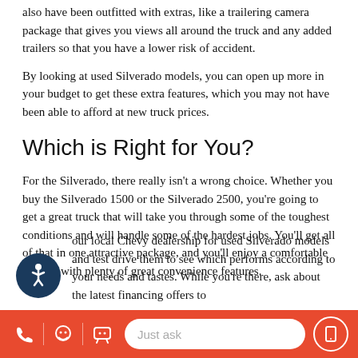also have been outfitted with extras, like a trailering camera package that gives you views all around the truck and any added trailers so that you have a lower risk of accident.
By looking at used Silverado models, you can open up more in your budget to get these extra features, which you may not have been able to afford at new truck prices.
Which is Right for You?
For the Silverado, there really isn't a wrong choice. Whether you buy the Silverado 1500 or the Silverado 2500, you're going to get a great truck that will take you through some of the toughest conditions and will handle some of the hardest jobs. You'll get all of that in one attractive package, and you'll enjoy a comfortable interior with plenty of great convenience features.
...our local Chevy dealership for used Silverado models and test drive them to see which performs according to your needs and tastes. While you're there, ask about the latest financing offers to
[Figure (other): Accessibility icon button - circular dark blue button with white wheelchair/person accessibility symbol]
Bottom navigation bar with phone, messenger, chat icons, 'Just ask' search box, and mobile icon